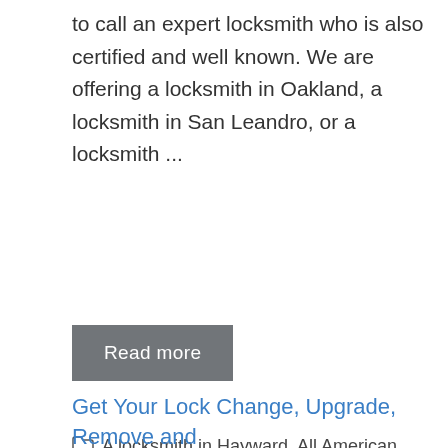to call an expert locksmith who is also certified and well known. We are offering a locksmith in Oakland, a locksmith in San Leandro, or a locksmith ...
Read more
A locksmith in Hayward, All American Lock & Key, All Keys Lost, commercial lock, Keys at your location, Oakland Locksmith, residential lock, San Leandro Locksmith, Stolen Keys
Get Your Lock Change, Upgrade, Remove and